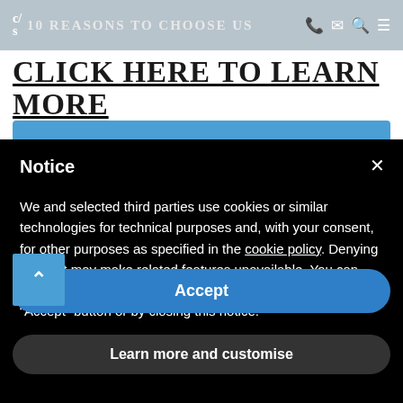C/S 10 REASONS TO CHOOSE US
CLICK HERE TO LEARN MORE
Notice
We and selected third parties use cookies or similar technologies for technical purposes and, with your consent, for other purposes as specified in the cookie policy. Denying consent may make related features unavailable. You can consent to the use of such technologies by using the “Accept” button or by closing this notice.
Accept
Learn more and customise